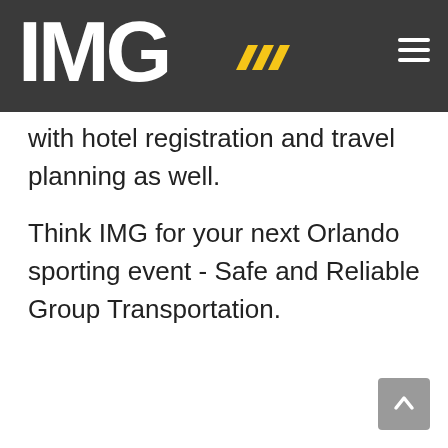[Figure (logo): IMG logo with white bold text on dark gray background, with yellow chevron/stripe marks after the G, and a hamburger menu icon on the right]
with hotel registration and travel planning as well.
Think IMG for your next Orlando sporting event - Safe and Reliable Group Transportation.